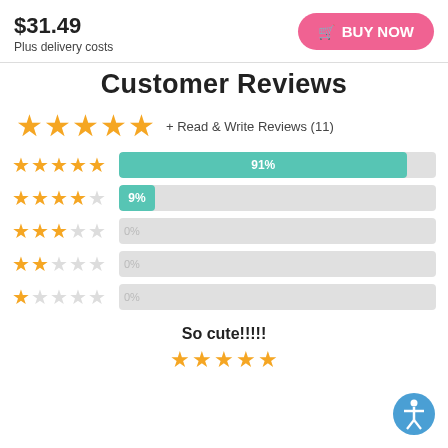$31.49
Plus delivery costs
BUY NOW
Customer Reviews
★★★★★ + Read & Write Reviews (11)
[Figure (bar-chart): Star rating distribution]
So cute!!!!!
★★★★★